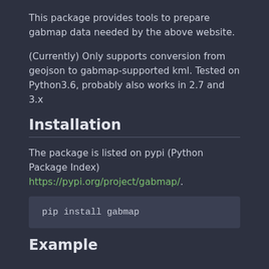This package provides tools to prepare gabmap data needed by the above website.
(Currently) Only supports conversion from geojson to gabmap-supported kml. Tested on Python3.6, probably also works in 2.7 and 3.x
Installation
The package is listed on pypi (Python Package Index) https://pypi.org/project/gabmap/.
pip install gabmap
Example